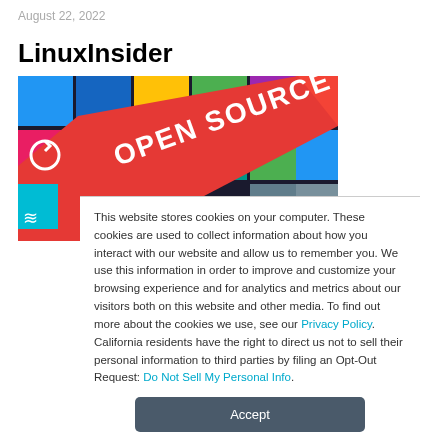August 22, 2022
LinuxInsider
[Figure (photo): Colorful keyboard keys styled as app tiles with a red key labeled 'OPEN SOURCE' in the center]
This website stores cookies on your computer. These cookies are used to collect information about how you interact with our website and allow us to remember you. We use this information in order to improve and customize your browsing experience and for analytics and metrics about our visitors both on this website and other media. To find out more about the cookies we use, see our Privacy Policy. California residents have the right to direct us not to sell their personal information to third parties by filing an Opt-Out Request: Do Not Sell My Personal Info.
Accept